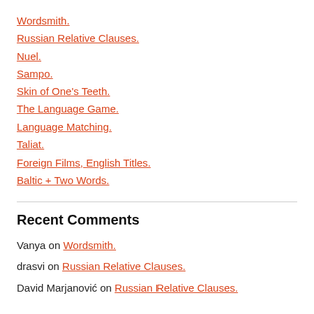Wordsmith.
Russian Relative Clauses.
Nuel.
Sampo.
Skin of One's Teeth.
The Language Game.
Language Matching.
Taliat.
Foreign Films, English Titles.
Baltic + Two Words.
Recent Comments
Vanya on Wordsmith.
drasvi on Russian Relative Clauses.
David Marjanović on Russian Relative Clauses.